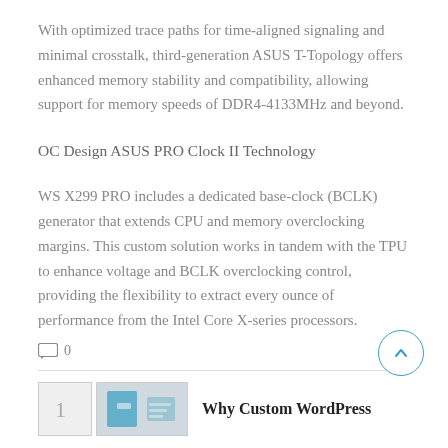With optimized trace paths for time-aligned signaling and minimal crosstalk, third-generation ASUS T-Topology offers enhanced memory stability and compatibility, allowing support for memory speeds of DDR4-4133MHz and beyond.
OC Design ASUS PRO Clock II Technology
WS X299 PRO includes a dedicated base-clock (BCLK) generator that extends CPU and memory overclocking margins. This custom solution works in tandem with the TPU to enhance voltage and BCLK overclocking control, providing the flexibility to extract every ounce of performance from the Intel Core X-series processors.
💬 0
Why Custom WordPress